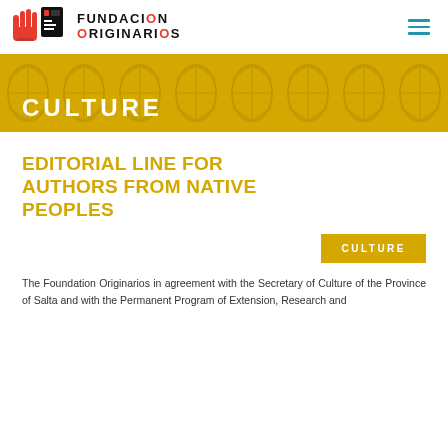[Figure (logo): Fundacion Originarios logo with stylized hand/figure graphic and text 'FUNDACION ORIGINARIOS']
CULTURE
EDITORIAL LINE FOR AUTHORS FROM NATIVE PEOPLES
CULTURE
The Foundation Originarios in agreement with the Secretary of Culture of the Province of Salta and with the Permanent Program of Extension, Research and